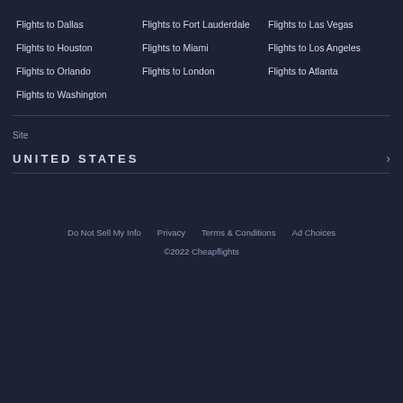Flights to Dallas
Flights to Fort Lauderdale
Flights to Las Vegas
Flights to Houston
Flights to Miami
Flights to Los Angeles
Flights to Orlando
Flights to London
Flights to Atlanta
Flights to Washington
Site
UNITED STATES
Do Not Sell My Info   Privacy   Terms & Conditions   Ad Choices
©2022 Cheapflights